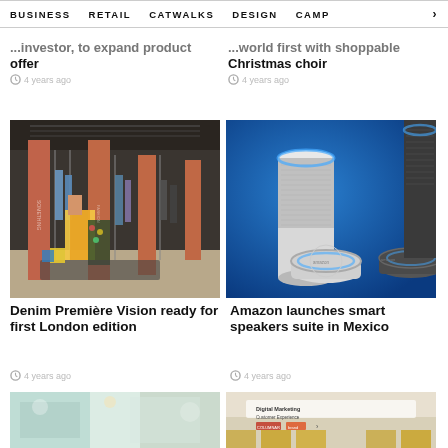BUSINESS   RETAIL   CATWALKS   DESIGN   CAMP >
...investor, to expand product offer
4 years ago
...world first with shoppable Christmas choir
4 years ago
[Figure (photo): Interior of a clothing retail store with display racks, mannequins in denim and colorful garments, orange/red columns.]
[Figure (photo): Amazon Echo smart speaker devices (tall white cylindrical speaker, small Echo Dot, and dark Echo device) on a blue background.]
Denim Première Vision ready for first London edition
4 years ago
Amazon launches smart speakers suite in Mexico
4 years ago
[Figure (photo): Partial view of a booth or display with light-colored panels and some interior imagery visible.]
[Figure (photo): Booth with signage reading 'Digital Marketing Customer Experience' and brand logos including Columnar and others.]